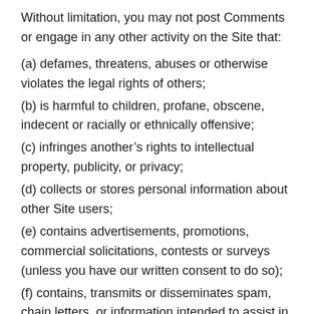Without limitation, you may not post Comments or engage in any other activity on the Site that:
(a) defames, threatens, abuses or otherwise violates the legal rights of others;
(b) is harmful to children, profane, obscene, indecent or racially or ethnically offensive;
(c) infringes another’s rights to intellectual property, publicity, or privacy;
(d) collects or stores personal information about other Site users;
(e) contains advertisements, promotions, commercial solicitations, contests or surveys (unless you have our written consent to do so);
(f) contains, transmits or disseminates spam, chain letters, or information intended to assist in the placement of a bet